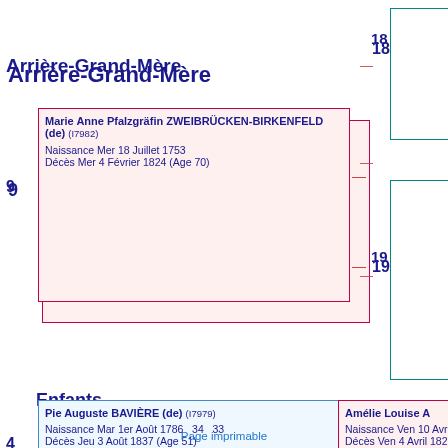Arrière-Grand-Mère
Marie Anne Pfalzgräfin ZWEIBRÜCKEN-BIRKENFELD (de) (I7982)
Naissance Mer 18 Juillet 1753
Décès Mer 4 Février 1824 (Age 70)
18
19
9
Enfants
4
Pie Auguste BAVIÈRE (de) (I7979)
Naissance Mar 1er Août 1786   34   33
Décès Jeu 3 Août 1837 (Age 51)
Amélie Louise A
Naissance Ven 10 Avri
Décès Ven 4 Avril 182
(F3489)
Pour toute question, contacter l'administrateur michel
Page imprimable